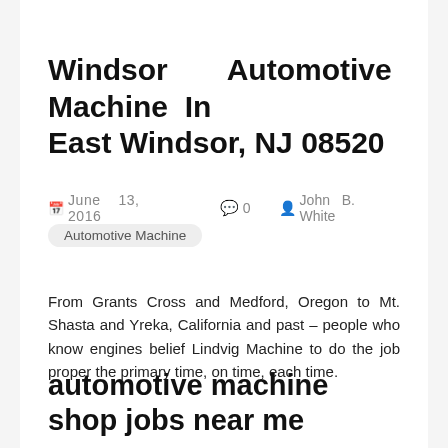Windsor Automotive Machine In East Windsor, NJ 08520
June 13, 2016   0   John B. White   Automotive Machine
From Grants Cross and Medford, Oregon to Mt. Shasta and Yreka, California and past – people who know engines belief Lindvig Machine to do the job proper the primary time, on time, each time.
automotive machine shop jobs near me